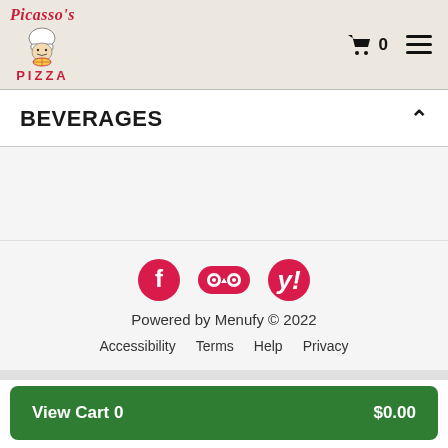Picasso's Pizza — cart: 0
BEVERAGES
[Figure (logo): Social media icons: Facebook, TripAdvisor, Yelp]
Powered by Menufy © 2022
Accessibility   Terms   Help   Privacy
View Cart 0   $0.00